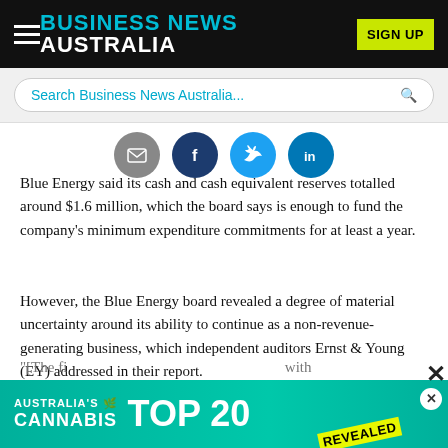BUSINESS NEWS AUSTRALIA
Search Business News Australia...
[Figure (infographic): Social sharing icons row: email (grey), Facebook (dark blue), Twitter (light blue), LinkedIn (blue)]
Blue Energy said its cash and cash equivalent reserves totalled around $1.6 million, which the board says is enough to fund the company's minimum expenditure commitments for at least a year.
However, the Blue Energy board revealed a degree of material uncertainty around its ability to continue as a non-revenue-generating business, which independent auditors Ernst & Young (EY) addressed in their report.
Advertisement
[Figure (infographic): Advertisement banner: Australia's Cannabis TOP 20 REVEALED on teal background]
"[The fi... with